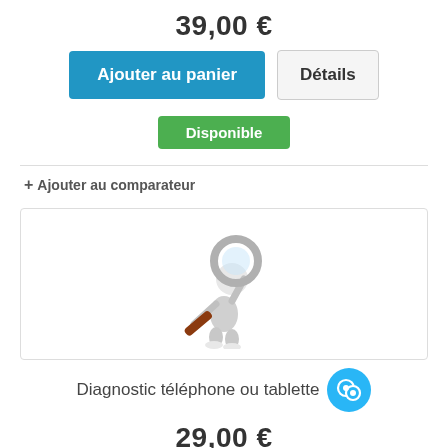39,00 €
Ajouter au panier
Détails
Disponible
+ Ajouter au comparateur
[Figure (illustration): 3D figure of a white humanoid character holding a large magnifying glass]
Diagnostic téléphone ou tablette
29,00 €